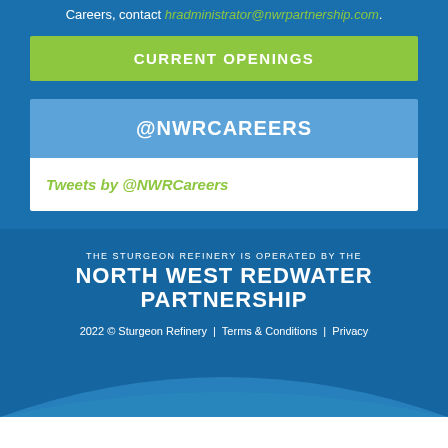Careers, contact hradministrator@nwrpartnership.com.
CURRENT OPENINGS
@NWRCAREERS
Tweets by @NWRCareers
THE STURGEON REFINERY IS OPERATED BY THE
NORTH WEST REDWATER PARTNERSHIP
2022 © Sturgeon Refinery | Terms & Conditions | Privacy